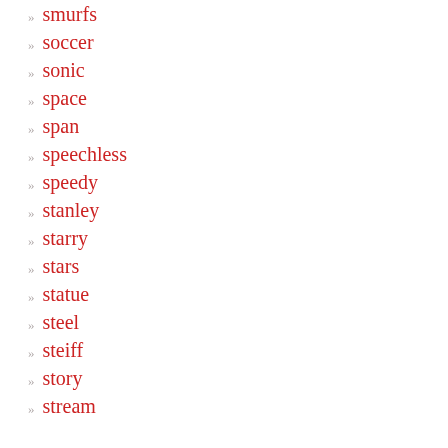smurfs
soccer
sonic
space
span
speechless
speedy
stanley
starry
stars
statue
steel
steiff
story
stream